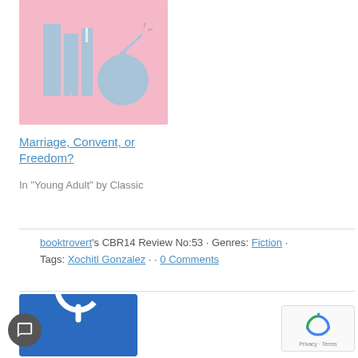[Figure (illustration): Book cover illustration with pink background showing stylized books and a bomb/grenade icon in light blue]
Marriage, Convent, or Freedom?
In "Young Adult" by Classic
booktrovert's CBR14 Review No:53 · Genres: Fiction · Tags: Xochitl Gonzalez · · 0 Comments
[Figure (logo): Blue square logo with white power/circle icon]